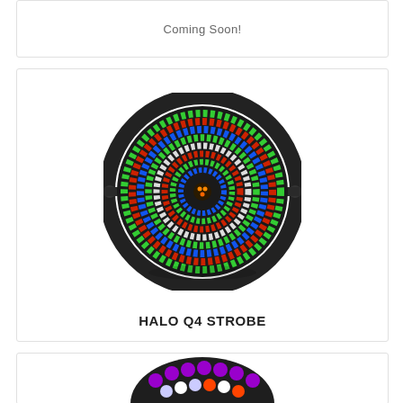Coming Soon!
[Figure (photo): Front-facing photo of the HALO Q4 STROBE lighting fixture. The fixture is circular with a black housing and circular bracket/yoke on both sides. The face of the fixture shows concentric rings of red, green, blue, and white LEDs arranged in a bullseye pattern. The center has a small orange LED cluster.]
HALO Q4 STROBE
[Figure (photo): Partial view of another circular lighting fixture (bottom of page), showing purple and white LEDs from above, with a black housing visible.]